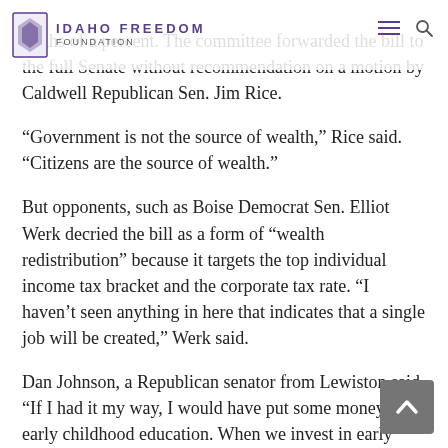Idaho Freedom Foundation
tenths of a percent. The committee forwarded the bill to the full Senate without recommendation on a motion by Caldwell Republican Sen. Jim Rice.
“Government is not the source of wealth,” Rice said. “Citizens are the source of wealth.”
But opponents, such as Boise Democrat Sen. Elliot Werk decried the bill as a form of “wealth redistribution” because it targets the top individual income tax bracket and the corporate tax rate. “I haven’t seen anything in here that indicates that a single job will be created,” Werk said.
Dan Johnson, a Republican senator from Lewiston said, “If I had it my way, I would have put some money into early childhood education. When we invest in early childhood education, it prepares them for a lifetime of success, a lifetime of learning.” But